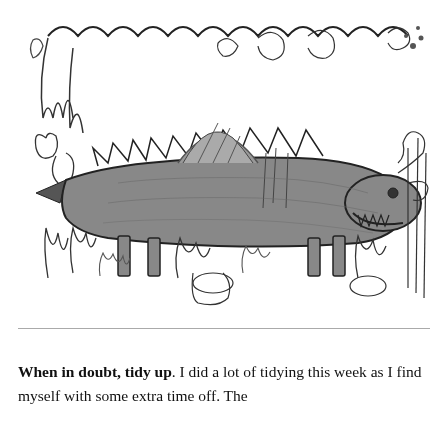[Figure (illustration): A child's pencil and crayon drawing of a fantastical dragon-like creature with a long body, spiky back, tail with an arrow-like tip, multiple legs, and a large head with open mouth. The creature is coloured grey/brown and surrounded by scribbly lines suggesting grass, trees, and a wavy horizon. The background is filled with energetic scribbled pen marks.]
When in doubt, tidy up. I did a lot of tidying this week as I find myself with some extra time off. The